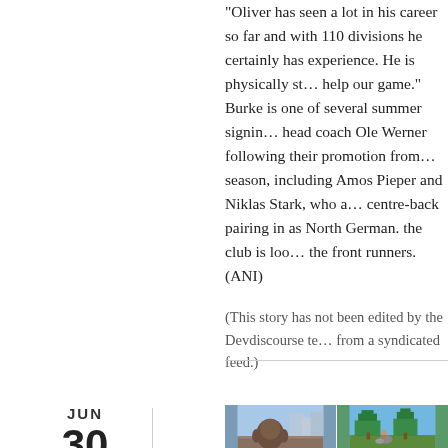“Oliver has seen a lot in his career so far and with 110 divisions he certainly has experience. He is physically strong and will help our game.” Burke is one of several summer signings made by head coach Ole Werner following their promotion from last season, including Amos Pieper and Niklas Stark, who are likely to form a centre-back pairing in as North German. the club is looking to impress the front runners. (ANI)
(This story has not been edited by the Devdiscourse team and is auto-generated from a syndicated feed.)
JUN
30
[Figure (photo): Animated character, a large round brown figure (Big Hero 6 style Baymax), on a rooftop with city buildings in background]
[Figure (photo): Pixel-art style illustration of trees and a small character in a forest setting with blue sky background]